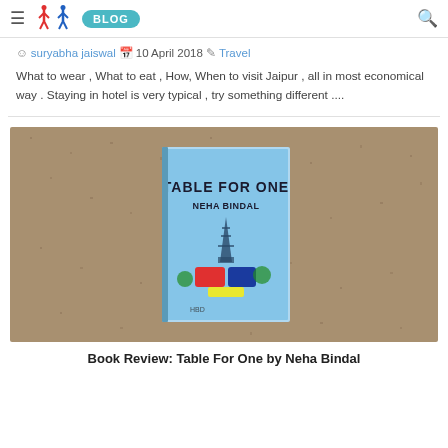≡  ∫∑ BLOG  🔍
suryabha jaiswal  📅  10 April 2018  ✏  Travel
What to wear , What to eat , How, When to visit Jaipur , all in most economical way . Staying in hotel is very typical , try something different ....
[Figure (photo): A book titled 'Table For One' by Neha Bindal placed on a sandy/rough concrete surface. The book has a light blue cover with an illustration of the Eiffel Tower, a suitcase, and travel elements.]
Book Review: Table For One by Neha Bindal